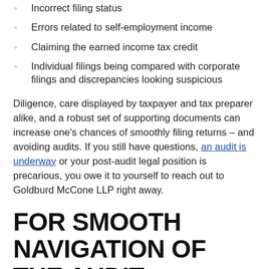Incorrect filing status
Errors related to self-employment income
Claiming the earned income tax credit
Individual filings being compared with corporate filings and discrepancies looking suspicious
Diligence, care displayed by taxpayer and tax preparer alike, and a robust set of supporting documents can increase one's chances of smoothly filing returns – and avoiding audits. If you still have questions, an audit is underway or your post-audit legal position is precarious, you owe it to yourself to reach out to Goldburd McCone LLP right away.
FOR SMOOTH NAVIGATION OF THE AUDIT PROCESS,